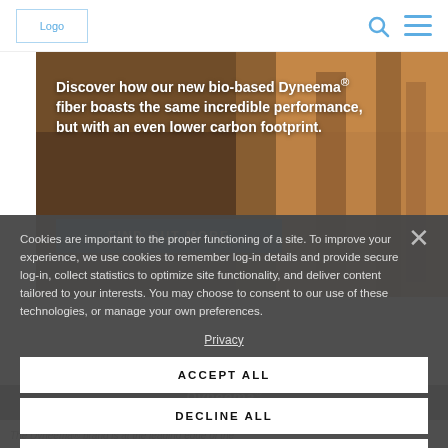Logo | Search | Menu
[Figure (photo): Outdoor hikers in a forest scene with warm amber/brown tones, overlaid with promotional text about bio-based Dyneema fiber and a 'Find Out More' button]
Cookies are important to the proper functioning of a site. To improve your experience, we use cookies to remember log-in details and provide secure log-in, collect statistics to optimize site functionality, and deliver content tailored to your interests. You may choose to consent to our use of these technologies, or manage your own preferences.
Privacy
ACCEPT ALL
DECLINE ALL
MANAGE SETTINGS
Dyneema®
WITH YOU WHEN IT MATTERS
The Dyneema® brand is at the leading edge of the